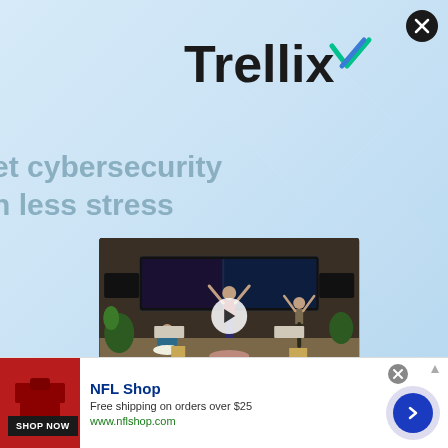[Figure (screenshot): Trellix cybersecurity advertisement with logo, tagline 'get cybersecurity with less stress', and a video thumbnail showing people doing yoga in a cybersecurity operations center]
Trellix
et cybersecurity
h less stress
[Figure (photo): Video thumbnail showing three people doing yoga poses in a cybersecurity operations center with monitors on the wall, with a play button overlay]
[Figure (screenshot): NFL Shop banner advertisement: Free shipping on orders over $25, www.nflshop.com, with SHOP NOW button]
NFL Shop
Free shipping on orders over $25
www.nflshop.com
SHOP NOW